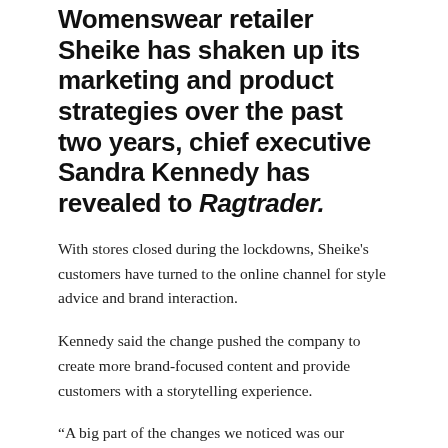Womenswear retailer Sheike has shaken up its marketing and product strategies over the past two years, chief executive Sandra Kennedy has revealed to Ragtrader.
With stores closed during the lockdowns, Sheike's customers have turned to the online channel for style advice and brand interaction.
Kennedy said the change pushed the company to create more brand-focused content and provide customers with a storytelling experience.
“A big part of the changes we noticed was our customers’ behavior and how they approached their purchases and interacted with the brand,” she said.